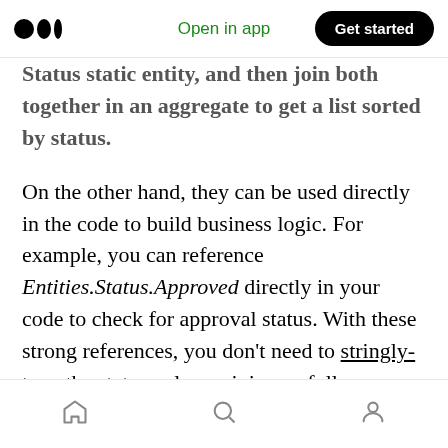Medium logo | Open in app | Get started
Status static entity, and then join both together in an aggregate to get a list sorted by status.
On the other hand, they can be used directly in the code to build business logic. For example, you can reference Entities.Status.Approved directly in your code to check for approval status. With these strong references, you don't need to stringly-type the status values, giving us full traceability of the constants and where they are used in the application.
But, in my opinion, their true power is in how
Home | Search | Profile